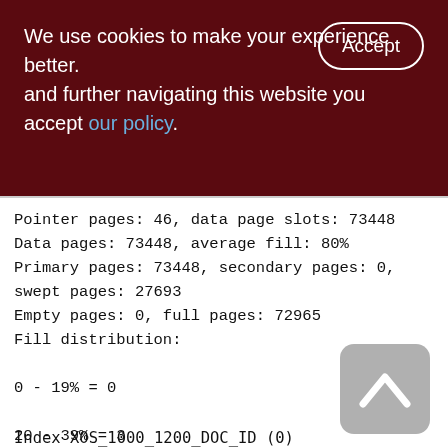We use cookies to make your experience better. By accepting and further navigating this website you accept our policy.
Pointer pages: 46, data page slots: 73448
Data pages: 73448, average fill: 80%
Primary pages: 73448, secondary pages: 0, swept pages: 27693
Empty pages: 0, full pages: 72965
Fill distribution:
0 - 19% = 0
20 - 39% = 3
40 - 59% = 36
60 - 79% = 21306
80 - 99% = 52103
Index XOS_1000_1200_DOC_ID (0)